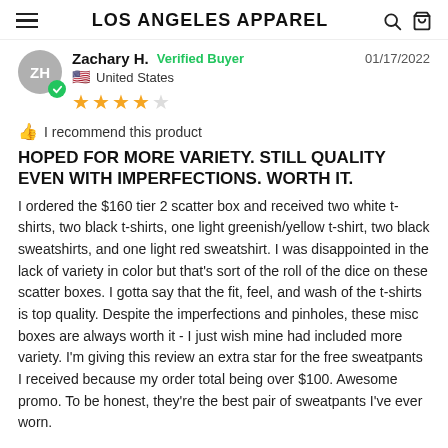LOS ANGELES APPAREL
Zachary H.  Verified Buyer  01/17/2022  United States  ★★★★☆
👍 I recommend this product
HOPED FOR MORE VARIETY. STILL QUALITY EVEN WITH IMPERFECTIONS. WORTH IT.
I ordered the $160 tier 2 scatter box and received two white t-shirts, two black t-shirts, one light greenish/yellow t-shirt, two black sweatshirts, and one light red sweatshirt. I was disappointed in the lack of variety in color but that's sort of the roll of the dice on these scatter boxes. I gotta say that the fit, feel, and wash of the t-shirts is top quality. Despite the imperfections and pinholes, these misc boxes are always worth it - I just wish mine had included more variety. I'm giving this review an extra star for the free sweatpants I received because my order total being over $100. Awesome promo. To be honest, they're the best pair of sweatpants I've ever worn.